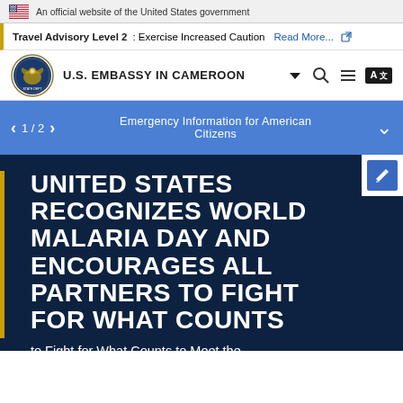An official website of the United States government
Travel Advisory Level 2: Exercise Increased Caution Read More...
U.S. EMBASSY IN CAMEROON
1 / 2  Emergency Information for American Citizens
UNITED STATES RECOGNIZES WORLD MALARIA DAY AND ENCOURAGES ALL PARTNERS TO FIGHT FOR WHAT COUNTS
to Fight for What Counts to Meet the Target of Eliminating Malaria in